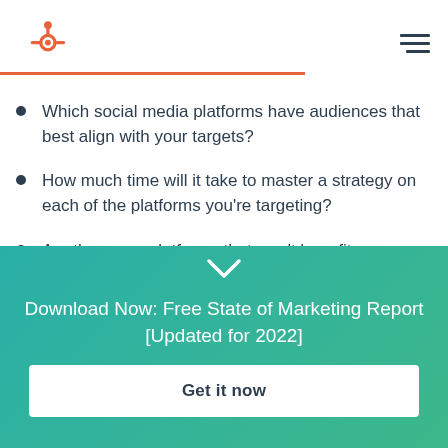HubSpot
Which social media platforms have audiences that best align with your targets?
How much time will it take to master a strategy on each of the platforms you're targeting?
Are there any platforms that won't benefit your
Download Now: Free State of Marketing Report [Updated for 2022]
Get it now